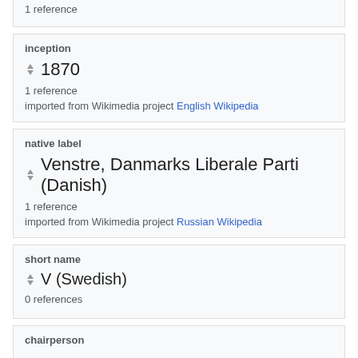1 reference
inception
⬍ 1870
1 reference
imported from Wikimedia project English Wikipedia
native label
⬍ Venstre, Danmarks Liberale Parti (Danish)
1 reference
imported from Wikimedia project Russian Wikipedia
short name
⬍ V (Swedish)
0 references
chairperson